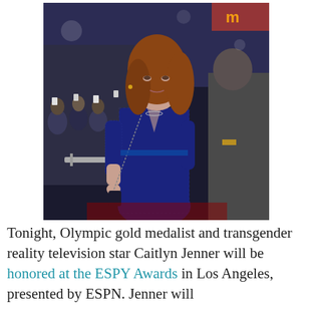[Figure (photo): Caitlyn Jenner in a blue lace dress at the ESPY Awards red carpet, surrounded by fans and photographers]
Tonight, Olympic gold medalist and transgender reality television star Caitlyn Jenner will be honored at the ESPY Awards in Los Angeles, presented by ESPN. Jenner will